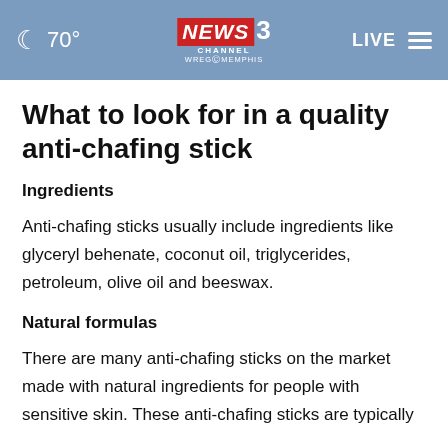[Figure (screenshot): News Channel 3 WREG Memphis website header with moon icon, 70° temperature, logo, LIVE text, and hamburger menu on blue background]
What to look for in a quality anti-chafing stick
Ingredients
Anti-chafing sticks usually include ingredients like glyceryl behenate, coconut oil, triglycerides, petroleum, olive oil and beeswax.
Natural formulas
There are many anti-chafing sticks on the market made with natural ingredients for people with sensitive skin. These anti-chafing sticks are typically